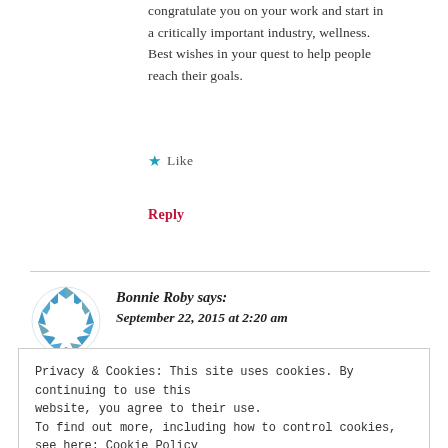congratulate you on your work and start in a critically important industry, wellness. Best wishes in your quest to help people reach their goals.
★ Like
Reply
Bonnie Roby says: September 22, 2015 at 2:20 am
Privacy & Cookies: This site uses cookies. By continuing to use this website, you agree to their use. To find out more, including how to control cookies, see here: Cookie Policy
Close and accept